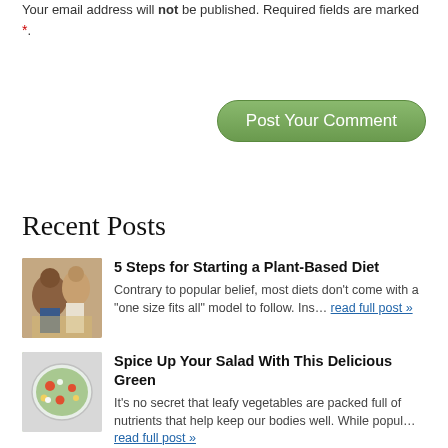Your email address will not be published. Required fields are marked *.
[Figure (other): Green rounded button with text 'Post Your Comment']
Recent Posts
5 Steps for Starting a Plant-Based Diet — Contrary to popular belief, most diets don't come with a "one size fits all" model to follow. Ins… read full post »
Spice Up Your Salad With This Delicious Green — It's no secret that leafy vegetables are packed full of nutrients that help keep our bodies well. While popul… read full post »
The Best Time of Day to Walk — Getting outside and into the fresh air for a period of time